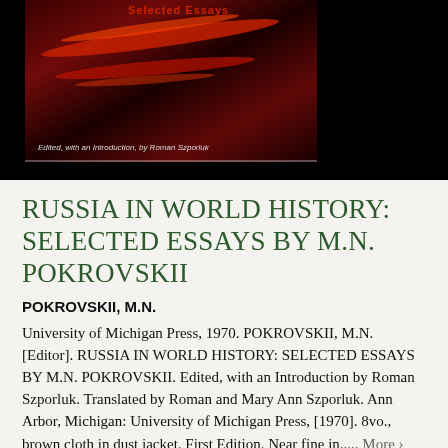[Figure (photo): Book cover of 'Russia in World History: Selected Essays by M.N. Pokrovskii' shown against a black background. The cover has a dark red background with flame-like red streaks. Text reads 'Selected Essays' in red and 'Edited, with an Introduction, by Roman Szporluk' in white at the bottom.]
RUSSIA IN WORLD HISTORY: SELECTED ESSAYS BY M.N. POKROVSKII
POKROVSKII, M.N.
University of Michigan Press, 1970. POKROVSKII, M.N. [Editor]. RUSSIA IN WORLD HISTORY: SELECTED ESSAYS BY M.N. POKROVSKII. Edited, with an Introduction by Roman Szporluk. Translated by Roman and Mary Ann Szporluk. Ann Arbor, Michigan: University of Michigan Press, [1970]. 8vo., brown cloth in dust jacket. First Edition. Near fine in..... More ›